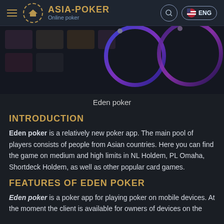ASIA-POKER Online poker
[Figure (screenshot): Game preview showing Eden poker lobby interface with card game thumbnails and neon circular rings]
Eden poker
INTRODUCTION
Eden poker is a relatively new poker app. The main pool of players consists of people from Asian countries. Here you can find the game on medium and high limits in NL Holdem, PL Omaha, Shortdeck Holdem, as well as other popular card games.
FEATURES OF EDEN POKER
Eden poker is a poker app for playing poker on mobile devices. At the moment the client is available for owners of devices on the